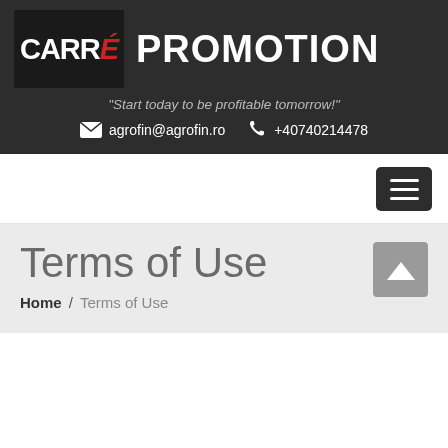[Figure (logo): Carré Promotion logo with black background, white bold text CARRÉ with red accent mark, followed by PROMOTION in white on dark gray background]
"Start today to be profitable tomorrow!"
agrofin@agrofin.ro   +40740214478
[Figure (other): Hamburger menu button (three horizontal white lines on dark background)]
Terms of Use
Home / Terms of Use